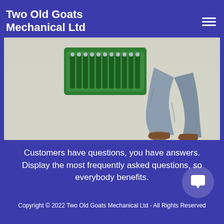Display their FAQs
Two Old Goats Mechanical Ltd
[Figure (photo): A person in grey workwear and brown work boots sitting/kneeling on a light floor next to a green tool case with sockets/tools organized in a tray.]
Customers have questions, you have answers. Display the most frequently asked questions, so everybody benefits.
Copyright © 2022 Two Old Goats Mechanical Ltd - All Rights Reserved